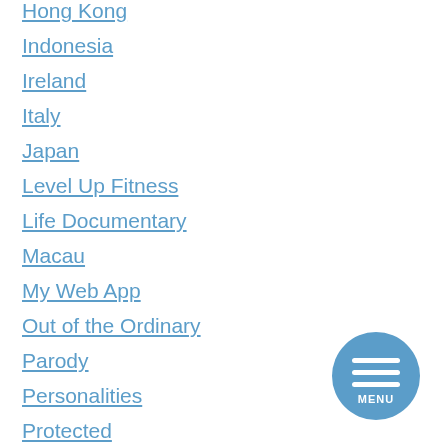Hong Kong
Indonesia
Ireland
Italy
Japan
Level Up Fitness
Life Documentary
Macau
My Web App
Out of the Ordinary
Parody
Personalities
Protected
[Figure (other): Circular blue menu button with three horizontal white lines and MENU text below them]